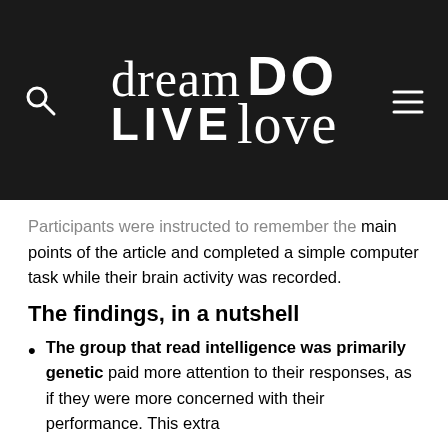[Figure (logo): Dream Do Live Love website logo on dark background with search and menu icons]
Participants were instructed to remember the main points of the article and completed a simple computer task while their brain activity was recorded.
The findings, in a nutshell
The group that read intelligence was primarily genetic paid more attention to their responses, as if they were more concerned with their performance. This extra